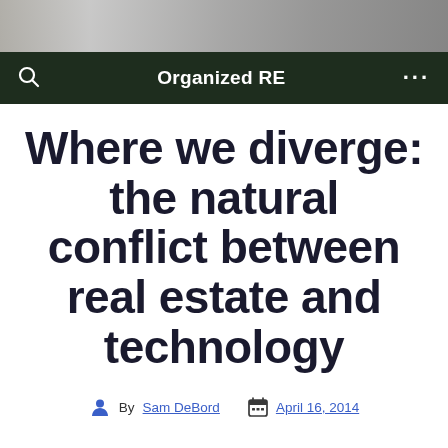[Figure (photo): Grayscale header banner image showing an interior room scene with furniture]
Organized RE
Where we diverge: the natural conflict between real estate and technology
By Sam DeBord   April 16, 2014